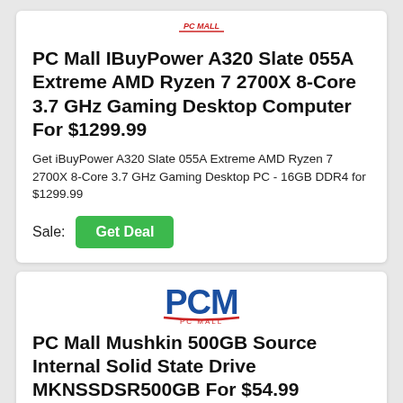[Figure (logo): PC Mall logo (partial, top of first card)]
PC Mall IBuyPower A320 Slate 055A Extreme AMD Ryzen 7 2700X 8-Core 3.7 GHz Gaming Desktop Computer For $1299.99
Get iBuyPower A320 Slate 055A Extreme AMD Ryzen 7 2700X 8-Core 3.7 GHz Gaming Desktop PC - 16GB DDR4 for $1299.99
Sale: Get Deal
[Figure (logo): PCM / PC Mall logo]
PC Mall Mushkin 500GB Source Internal Solid State Drive MKNSSDSR500GB For $54.99
No voucher code needed. Rates as marked. Tap